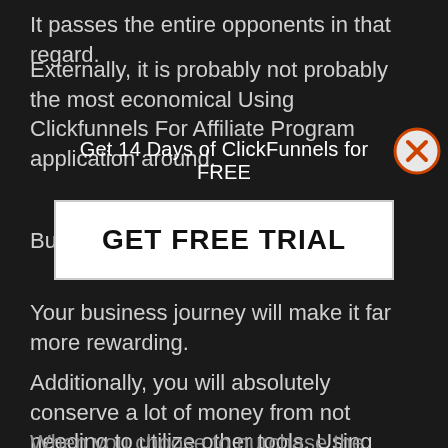It passes the entire opponents in that regard.
Externally, it is probably not probably the most economical Using Clickfunnels For Affiliate Program application around.
But it worth the cash.
[Figure (infographic): Popup overlay with text 'Get 14 Days of ClickFunnels for FREE' and a 'GET FREE TRIAL' button with a close (X) button in the top right]
Your business journey will make it far more rewarding.
Additionally, you will absolutely conserve a lot of money from not needing to utilize other tools. Using Clickfunnels For Affiliate Program
When you choose to purchase the application ...